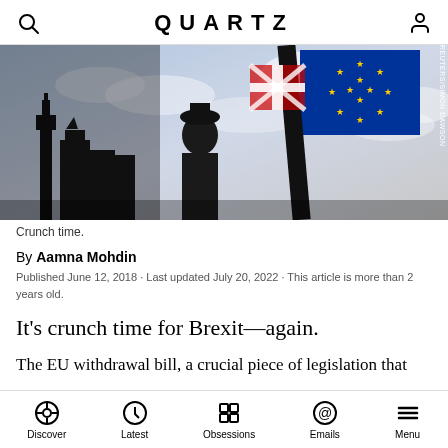QUARTZ
[Figure (photo): A silhouette of a person holding an EU flag and a Union Jack flag in front of the Houses of Parliament, with a cloudy sky background. Photo credit: REUTERS/SIMON DAWSON]
Crunch time.
By Aamna Mohdin
Published June 12, 2018 · Last updated July 20, 2022 · This article is more than 2 years old.
It's crunch time for Brexit—again.
The EU withdrawal bill, a crucial piece of legislation that
Discover | Latest | Obsessions | Emails | Menu